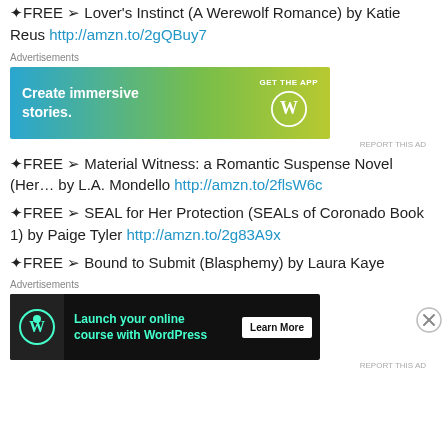✦FREE ➢ Lover's Instinct (A Werewolf Romance) by Katie Reus http://amzn.to/2gQBuy7
[Figure (other): WordPress advertisement banner: 'Create immersive stories. GET THE APP' with WordPress logo, gradient blue-green background]
✦FREE ➢ Material Witness: a Romantic Suspense Novel (Her… by L.A. Mondello http://amzn.to/2flsW6c
✦FREE ➢ SEAL for Her Protection (SEALs of Coronado Book 1) by Paige Tyler http://amzn.to/2g83A9x
✦FREE ➢ Bound to Submit (Blasphemy) by Laura Kaye
[Figure (other): WordPress advertisement banner: 'Launch your online course with WordPress' Learn More button, dark background with WordPress icon]